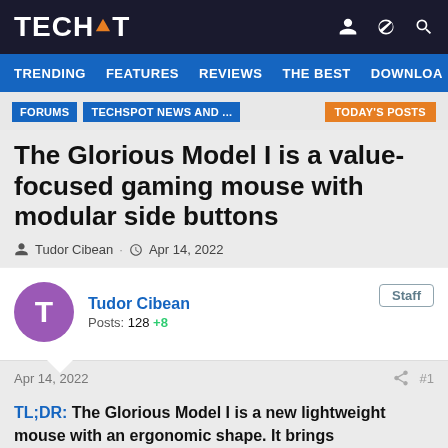TECHSPOT
TRENDING  FEATURES  REVIEWS  THE BEST  DOWNLOA
FORUMS  TECHSPOT NEWS AND ...  TODAY'S POSTS
The Glorious Model I is a value-focused gaming mouse with modular side buttons
Tudor Cibean · Apr 14, 2022
Tudor Cibean
Posts: 128  +8
Staff
Apr 14, 2022  #1
TL;DR: The Glorious Model I is a new lightweight mouse with an ergonomic shape. It brings customizable,